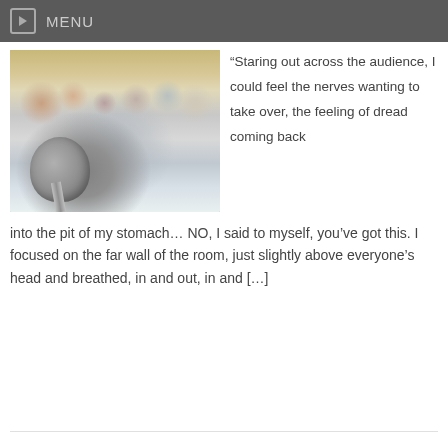MENU
[Figure (photo): Close-up photo of a microphone in the foreground with a blurred audience seated in rows behind it in a conference/meeting room setting with wooden-paneled walls.]
“Staring out across the audience, I could feel the nerves wanting to take over, the feeling of dread coming back into the pit of my stomach… NO, I said to myself, you’ve got this. I focused on the far wall of the room, just slightly above everyone’s head and breathed, in and out, in and […]